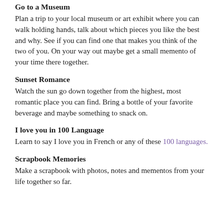Go to a Museum
Plan a trip to your local museum or art exhibit where you can walk holding hands, talk about which pieces you like the best and why. See if you can find one that makes you think of the two of you. On your way out maybe get a small memento of your time there together.
Sunset Romance
Watch the sun go down together from the highest, most romantic place you can find. Bring a bottle of your favorite beverage and maybe something to snack on.
I love you in 100 Language
Learn to say I love you in French or any of these 100 languages.
Scrapbook Memories
Make a scrapbook with photos, notes and mementos from your life together so far.